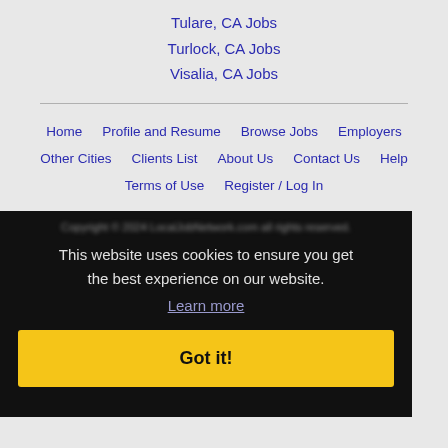Tulare, CA Jobs
Turlock, CA Jobs
Visalia, CA Jobs
Home
Profile and Resume
Browse Jobs
Employers
Other Cities
Clients List
About Us
Contact Us
Help
Terms of Use
Register / Log In
This website uses cookies to ensure you get the best experience on our website.
Learn more
Got it!